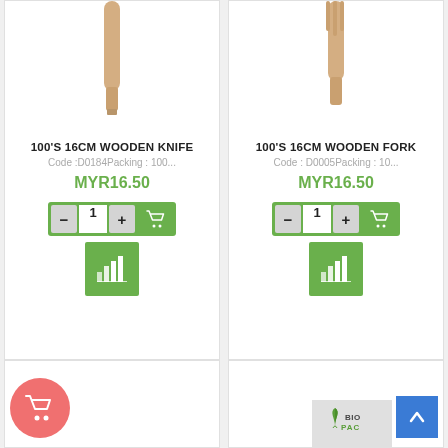[Figure (photo): Product image of 16cm wooden knife, partial view from top]
100'S 16CM WOODEN KNIFE
Code :D0184Packing : 100...
MYR16.50
[Figure (photo): Product image of 16cm wooden fork, partial view from top]
100'S 16CM WOODEN FORK
Code : D0005Packing : 10...
MYR16.50
[Figure (logo): BIO-PAC logo with leaf icon]